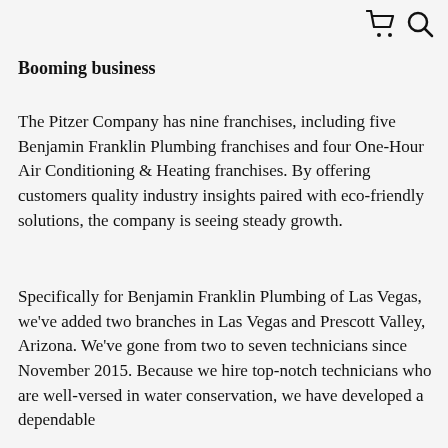🛒 🔍
Booming business
The Pitzer Company has nine franchises, including five Benjamin Franklin Plumbing franchises and four One-Hour Air Conditioning & Heating franchises. By offering customers quality industry insights paired with eco-friendly solutions, the company is seeing steady growth.
Specifically for Benjamin Franklin Plumbing of Las Vegas, we've added two branches in Las Vegas and Prescott Valley, Arizona. We've gone from two to seven technicians since November 2015. Because we hire top-notch technicians who are well-versed in water conservation, we have developed a dependable